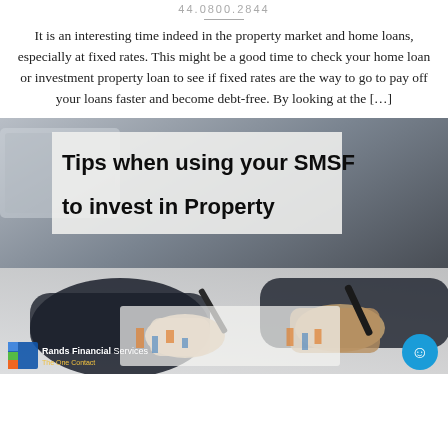44.0800.2844
It is an interesting time indeed in the property market and home loans, especially at fixed rates. This might be a good time to check your home loan or investment property loan to see if fixed rates are the way to go to pay off your loans faster and become debt-free. By looking at the […]
[Figure (photo): Two business people at a desk reviewing financial charts, one holding a pen. Overlay text reads 'Tips when using your SMSF to invest in Property'. Rands Financial Services logo in bottom left corner.]